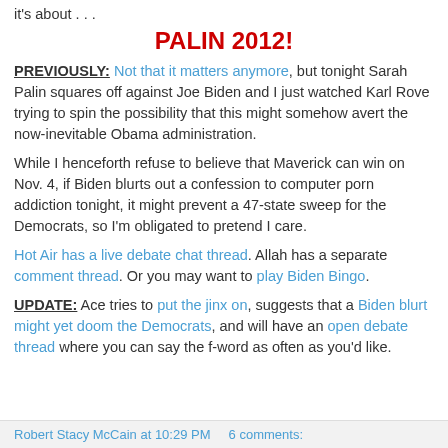it's about . . .
PALIN 2012!
PREVIOUSLY: Not that it matters anymore, but tonight Sarah Palin squares off against Joe Biden and I just watched Karl Rove trying to spin the possibility that this might somehow avert the now-inevitable Obama administration.
While I henceforth refuse to believe that Maverick can win on Nov. 4, if Biden blurts out a confession to computer porn addiction tonight, it might prevent a 47-state sweep for the Democrats, so I'm obligated to pretend I care.
Hot Air has a live debate chat thread. Allah has a separate comment thread. Or you may want to play Biden Bingo.
UPDATE: Ace tries to put the jinx on, suggests that a Biden blurt might yet doom the Democrats, and will have an open debate thread where you can say the f-word as often as you'd like.
Robert Stacy McCain at 10:29 PM   6 comments: